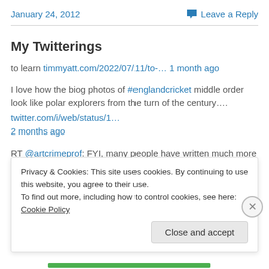January 24, 2012
Leave a Reply
My Twitterings
to learn timmyatt.com/2022/07/11/to-… 1 month ago
I love how the biog photos of #englandcricket middle order look like polar explorers from the turn of the century…. twitter.com/i/web/status/1… 2 months ago
RT @artcrimeprof: FYI, many people have written much more about
Privacy & Cookies: This site uses cookies. By continuing to use this website, you agree to their use.
To find out more, including how to control cookies, see here: Cookie Policy
Close and accept